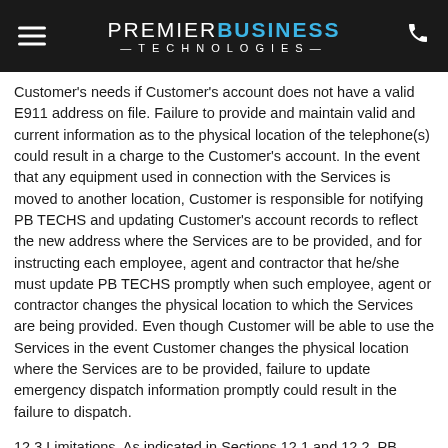PREMIER BUSINESS TECHNOLOGIES
Customer's needs if Customer's account does not have a valid E911 address on file. Failure to provide and maintain valid and current information as to the physical location of the telephone(s) could result in a charge to the Customer's account. In the event that any equipment used in connection with the Services is moved to another location, Customer is responsible for notifying PB TECHS and updating Customer's account records to reflect the new address where the Services are to be provided, and for instructing each employee, agent and contractor that he/she must update PB TECHS promptly when such employee, agent or contractor changes the physical location to which the Services are being provided. Even though Customer will be able to use the Services in the event Customer changes the physical location where the Services are to be provided, failure to update emergency dispatch information promptly could result in the failure to dispatch.
12.3 Limitations. As indicated in Sections 12.1 and 12.2, PB TECHS's provision of Enhanced 911 service has several